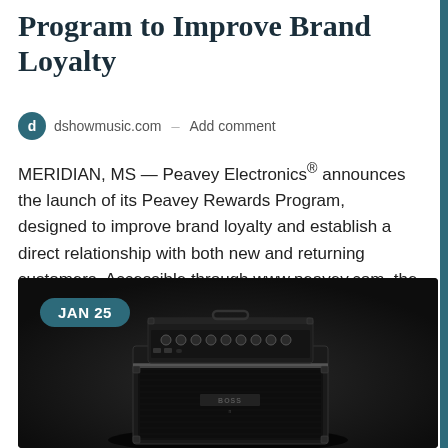Program to Improve Brand Loyalty
dshowmusic.com – Add comment
MERIDIAN, MS — Peavey Electronics® announces the launch of its Peavey Rewards Program, designed to improve brand loyalty and establish a direct relationship with both new and returning customers. Accessible through www.peavey.com, the user-friendly…
[Figure (photo): Photo of a Peavey bass guitar amplifier (black combo amp) on a dark background, with a date badge overlay reading JAN 25]